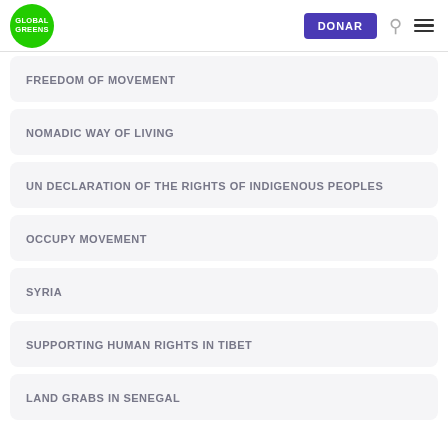GLOBAL GREENS | DONAR
FREEDOM OF MOVEMENT
NOMADIC WAY OF LIVING
UN DECLARATION OF THE RIGHTS OF INDIGENOUS PEOPLES
OCCUPY MOVEMENT
SYRIA
SUPPORTING HUMAN RIGHTS IN TIBET
LAND GRABS IN SENEGAL